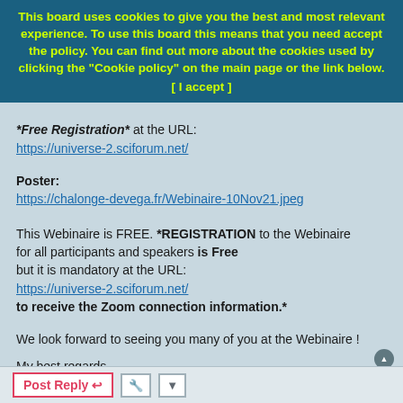This board uses cookies to give you the best and most relevant experience. To use this board this means that you need accept the policy. You can find out more about the cookies used by clicking the "Cookie policy" on the main page or the link below. [ I accept ]
*Free Registration* at the URL: https://universe-2.sciforum.net/
Poster: https://chalonge-devega.fr/Webinaire-10Nov21.jpeg
This Webinaire is FREE. *REGISTRATION to the Webinaire for all participants and speakers is Free but it is mandatory at the URL: https://universe-2.sciforum.net/ to receive the Zoom connection information.*
We look forward to seeing you many of you at the Webinaire !
My best regards,
Norma G. Sanchez